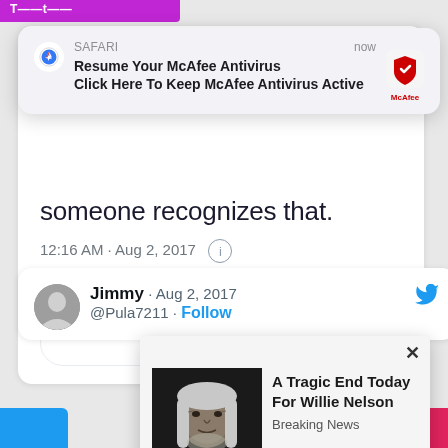[Figure (screenshot): Safari push notification: 'Resume Your McAfee Antivirus / Click Here To Keep McAfee Antivirus Active' with McAfee logo]
someone recognizes that.
12:16 AM · Aug 2, 2017
140   Reply   Copy link
Read 33 replies
Jimmy · Aug 2, 2017 @Pula7211 · Follow
[Figure (screenshot): Ad popup showing an elderly man in black (Willie Nelson) with text 'A Tragic End Today For Willie Nelson / Breaking News']